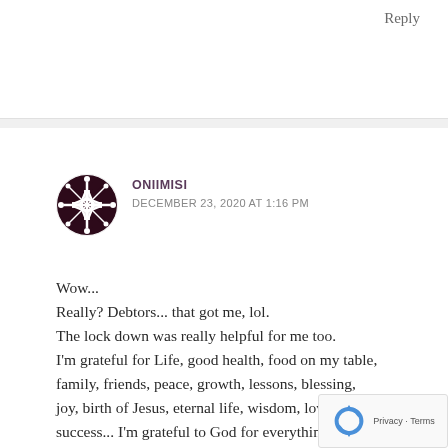Reply
[Figure (illustration): Circular avatar with dark maroon/black geometric snowflake/mandala pattern on white background]
ONIIMISI
DECEMBER 23, 2020 AT 1:16 PM
Wow...
Really? Debtors... that got me, lol.
The lock down was really helpful for me too.
I'm grateful for Life, good health, food on my table, family, friends, peace, growth, lessons, blessing, joy, birth of Jesus, eternal life, wisdom, love, success... I'm grateful to God for everything really.
Thanks you so much for this beautiful piece.
Though the year was tough, there's a lot to be grateful for.
[Figure (logo): reCAPTCHA logo with Privacy and Terms text]